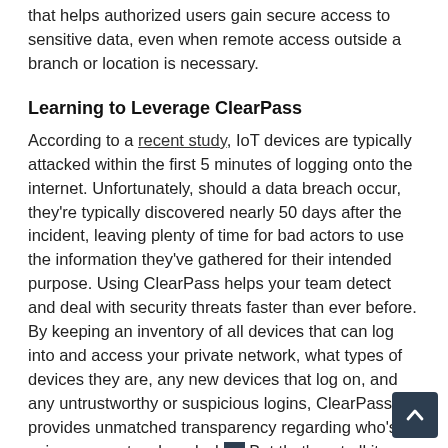that helps authorized users gain secure access to sensitive data, even when remote access outside a branch or location is necessary.
Learning to Leverage ClearPass
According to a recent study, IoT devices are typically attacked within the first 5 minutes of logging onto the internet. Unfortunately, should a data breach occur, they're typically discovered nearly 50 days after the incident, leaving plenty of time for bad actors to use the information they've gathered for their intended purpose. Using ClearPass helps your team detect and deal with security threats faster than ever before. By keeping an inventory of all devices that can log into and access your private network, what types of devices they are, any new devices that log on, and any untrustworthy or suspicious logins, ClearPass provides unmatched transparency regarding who's using your network and wh... But that's not all it offers.